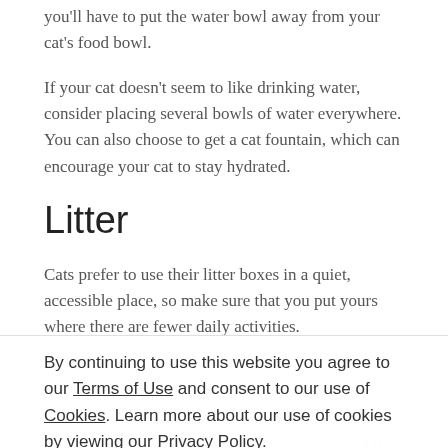you'll have to put the water bowl away from your cat's food bowl.
If your cat doesn't seem to like drinking water, consider placing several bowls of water everywhere. You can also choose to get a cat fountain, which can encourage your cat to stay hydrated.
Litter
Cats prefer to use their litter boxes in a quiet, accessible place, so make sure that you put yours where there are fewer daily activities.
By continuing to use this website you agree to our Terms of Use and consent to our use of Cookies. Learn more about our use of cookies by viewing our Privacy Policy.
ACCEPT
becomes too smelly or dirty, your cat might avoid drinking in it. But if your cat continues to avoid the litter